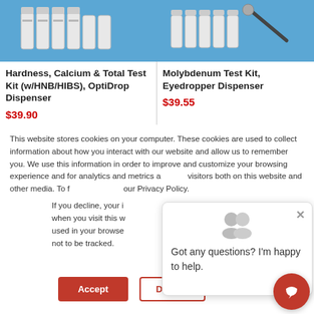[Figure (photo): Product photo of Hardness, Calcium & Total Test Kit with bottles on blue background]
[Figure (photo): Product photo of Molybdenum Test Kit, Eyedropper Dispenser with bottles and dropper on blue background]
Hardness, Calcium & Total Test Kit (w/HNB/HIBS), OptiDrop Dispenser
$39.90
Molybdenum Test Kit, Eyedropper Dispenser
$39.55
This website stores cookies on your computer. These cookies are used to collect information about how you interact with our website and allow us to remember you. We use this information in order to improve and customize your browsing experience and for analytics and metrics a visitors both on this website and other media. To f our Privacy Policy.
If you decline, your i when you visit this w used in your browse not to be tracked.
Got any questions? I'm happy to help.
Accept
Decline